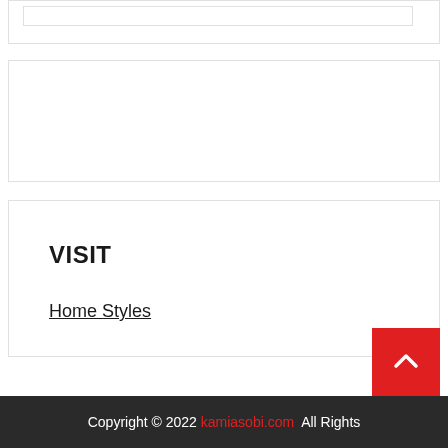[Figure (screenshot): Partial top box with inner input-like element]
[Figure (screenshot): Empty white box with border]
VISIT
Home Styles
Copyright © 2022 kamiasobi.com  All Rights